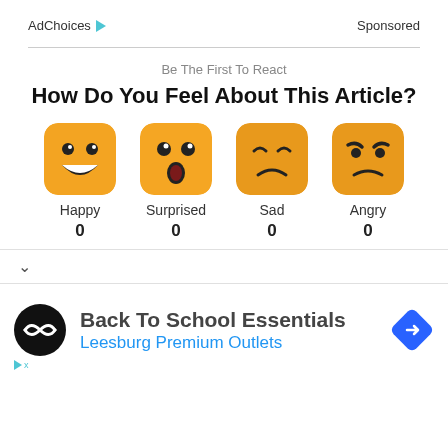AdChoices ▷   Sponsored
Be The First To React
How Do You Feel About This Article?
[Figure (infographic): Four emoji reaction buttons: Happy (0), Surprised (0), Sad (0), Angry (0)]
Back To School Essentials
Leesburg Premium Outlets